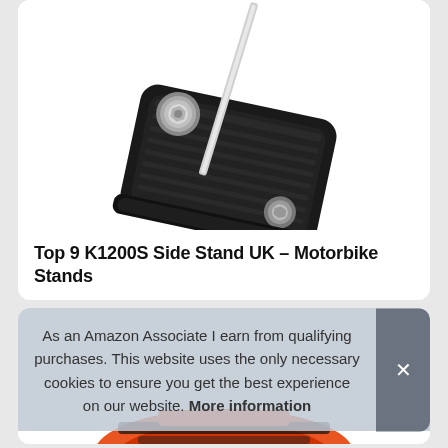[Figure (photo): Close-up photo of a black anodized motorcycle side stand extension/kickstand plate with silver bolt hardware, shown at an angle against a white background.]
Top 9 K1200S Side Stand UK – Motorbike Stands
As an Amazon Associate I earn from qualifying purchases. This website uses the only necessary cookies to ensure you get the best experience on our website. More information
[Figure (photo): Partial view of a red/orange and black motorcycle part at the bottom of the page.]